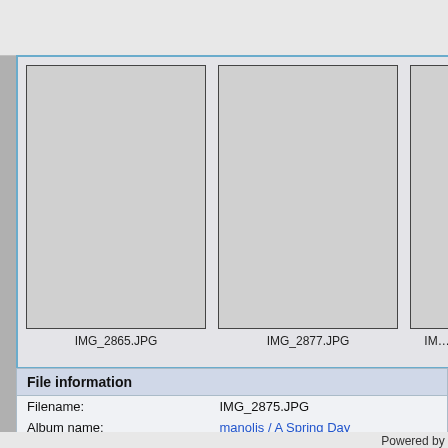[Figure (screenshot): Thumbnail gallery panel showing three image placeholders: IMG_2865.JPG, IMG_2877.JPG, and a third partially visible image. Gray placeholder boxes with file name labels below.]
File information
| Field | Value |
| --- | --- |
| Filename: | IMG_2875.JPG |
| Album name: | manolis / A Spring Day |
| Rating (2 votes): | (Details) |
| File Size: | 2336 KB |
| Date added: | Apr 04, 2006 |
| Dimensions: | 2048 x 1536 pixels |
| Displayed: | 433 times |
| URL: | http://www.paraglidingforum.com/phot… |
| Favorites: | Add to Favorites |
Powered by …